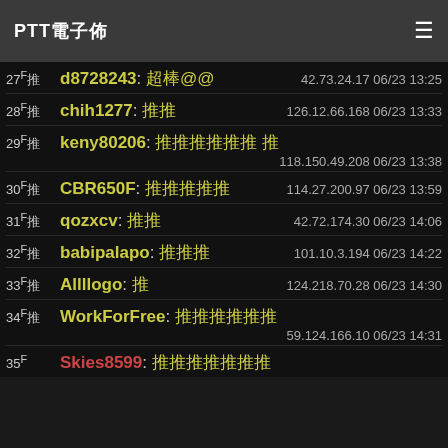PTT電子佈 ☰
27F推 d8728243: 超棒@@ 42.73.24.17 06/23 13:25
28F推 chih1277: 推推 126.12.66.168 06/23 13:33
29F推 keny80206: 推推推推推推 推 118.150.49.208 06/23 13:38
30F推 CBR650F: 推推推推推 114.27.200.97 06/23 13:59
31F推 qozxcv: 推推 42.72.174.30 06/23 14:06
32F推 babipalapo: 推推推 101.10.3.194 06/23 14:22
33F推 Allllogo: 推 124.218.70.28 06/23 14:30
34F推 WorkForFree: 推推推推推推 59.124.166.10 06/23 14:31
35F推 Skies8599: 推推推推推推推